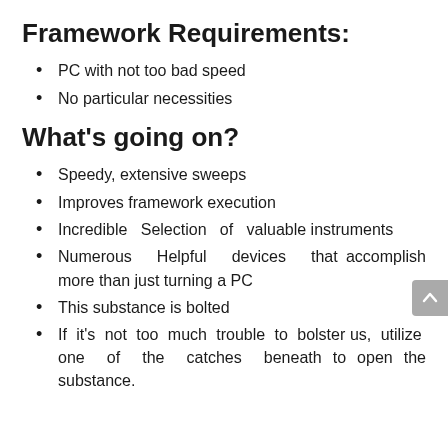Framework Requirements:
PC with not too bad speed
No particular necessities
What's going on?
Speedy, extensive sweeps
Improves framework execution
Incredible Selection of valuable instruments
Numerous Helpful devices that accomplish more than just turning a PC
This substance is bolted
If it's not too much trouble to bolster us, utilize one of the catches beneath to open the substance.